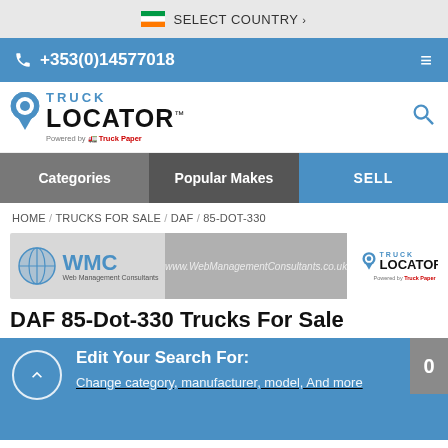SELECT COUNTRY
+353(0)14577018
[Figure (logo): Truck Locator logo with map pin icon and 'Powered by Truck Paper' tagline]
Categories / Popular Makes / SELL
HOME / TRUCKS FOR SALE / DAF / 85-DOT-330
[Figure (screenshot): WMC Web Management Consultants banner advertisement with Truck Locator logo]
DAF 85-Dot-330 Trucks For Sale
Edit Your Search For:
Change category, manufacturer, model, And more